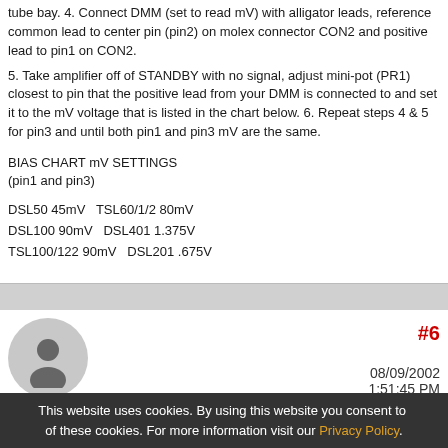tube bay. 4. Connect DMM (set to read mV) with alligator leads, reference common lead to center pin (pin2) on molex connector CON2 and positive lead to pin1 on CON2.
5. Take amplifier off of STANDBY with no signal, adjust mini-pot (PR1) closest to pin that the positive lead from your DMM is connected to and set it to the mV voltage that is listed in the chart below. 6. Repeat steps 4 & 5 for pin3 and until both pin1 and pin3 mV are the same.
BIAS CHART mV SETTINGS
(pin1 and pin3)
DSL50 45mV TSL60/1/2 80mV
DSL100 90mV DSL401 1.375V
TSL100/122 90mV DSL201 .675V
#6
08/09/2002
1:51:45 PM
Big as Elvis,
Baby
This website uses cookies. By using this website you consent to the use of these cookies. For more information visit our Privacy Policy.